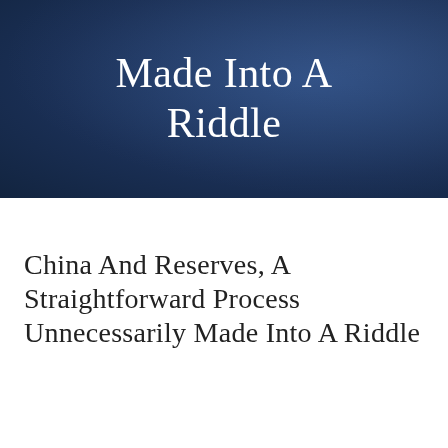[Figure (photo): Dark navy blue banner image with overlay text showing partial article title 'Made Into A Riddle']
Made Into A Riddle
China And Reserves, A Straightforward Process Unnecessarily Made Into A Riddle
By Jeffrey P. Snider | March 7th, 2017 | Currencies,